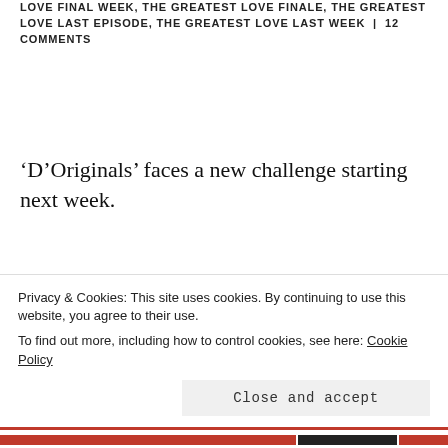LOVE FINAL WEEK, THE GREATEST LOVE FINALE, THE GREATEST LOVE LAST EPISODE, THE GREATEST LOVE LAST WEEK | 12 COMMENTS
‘D’Originals’ faces a new challenge starting next week.
The recently-premiered GMA comedy-drama series got its baptism of fire when it aired opposite ABS-CBN’s ‘The Greatest Love’. Sadly, the debut week of ‘D’Originals’ coincided with the gripping final
Privacy & Cookies: This site uses cookies. By continuing to use this website, you agree to their use.
To find out more, including how to control cookies, see here: Cookie Policy
Close and accept